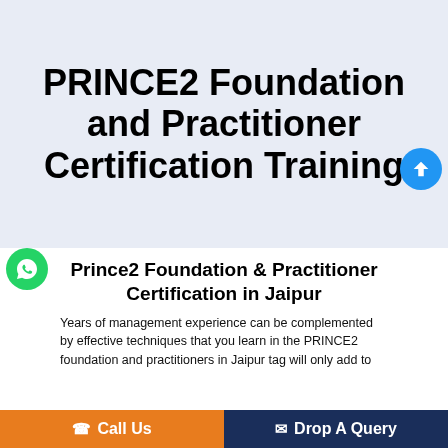PRINCE2 Foundation and Practitioner Certification Training
Prince2 Foundation & Practitioner Certification in Jaipur
Years of management experience can be complemented by effective techniques that you learn in the PRINCE2 foundation and practitioners in Jaipur tag will only add to
Call Us   Drop A Query